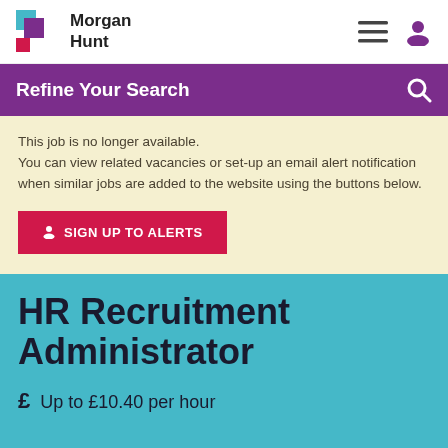Morgan Hunt
Refine Your Search
This job is no longer available.
You can view related vacancies or set-up an email alert notification when similar jobs are added to the website using the buttons below.
SIGN UP TO ALERTS
HR Recruitment Administrator
Up to £10.40 per hour